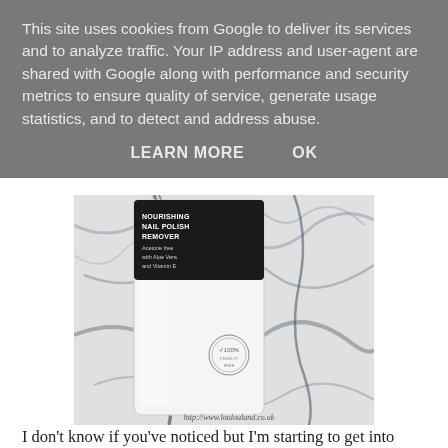This site uses cookies from Google to deliver its services and to analyze traffic. Your IP address and user-agent are shared with Google along with performance and security metrics to ensure quality of service, generate usage statistics, and to detect and address abuse.
LEARN MORE    OK
[Figure (photo): A white bottle of Nourishing Nail Polish Remover (acetone free, with Aloe Vera and Vitamin E) lying on a white marble surface with dark veining. A circular logo/seal is visible on the bottle. Watermark reads http://www.loulouland.co.uk]
I don't know if you've noticed but I'm starting to get into